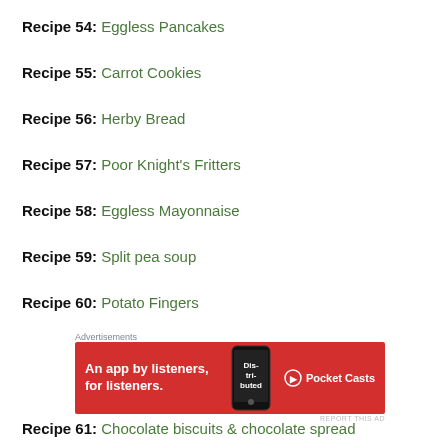Recipe 54: Eggless Pancakes
Recipe 55: Carrot Cookies
Recipe 56: Herby Bread
Recipe 57: Poor Knight's Fritters
Recipe 58: Eggless Mayonnaise
Recipe 59: Split pea soup
Recipe 60: Potato Fingers
[Figure (other): Pocket Casts advertisement banner: red background with text 'An app by listeners, for listeners.' and Pocket Casts logo]
Recipe 61: Chocolate biscuits & chocolate spread